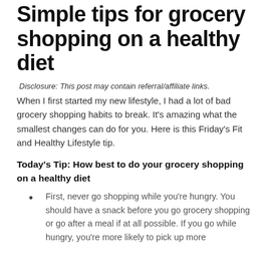Simple tips for grocery shopping on a healthy diet
Disclosure: This post may contain referral/affiliate links. When I first started my new lifestyle, I had a lot of bad grocery shopping habits to break. It's amazing what the smallest changes can do for you.  Here is this Friday's Fit and Healthy Lifestyle tip.
Today's Tip:  How best to do your grocery shopping on a healthy diet
First, never go shopping while you're hungry.  You should have a snack before you go grocery shopping or go after a meal if at all possible.  If you go while hungry, you're more likely to pick up more